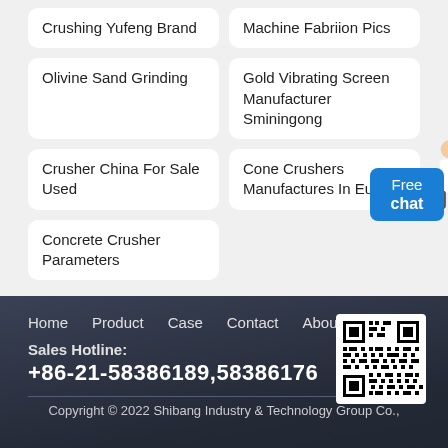Crushing Yufeng Brand
Machine Fabriion Pics
Olivine Sand Grinding
Gold Vibrating Screen Manufacturer Sminingong
Crusher China For Sale Used
Cone Crushers Manufactures In Europe
Concrete Crusher Parameters
[Figure (illustration): Small illustration of a woman in business attire with arm extended, next to a blue 'Free chat' button]
Home   Product   Case   Contact   About
Sales Hotline:
+86-21-58386189,58386176
[Figure (other): QR code in white box]
Copyright © 2022 Shibang Industry & Technology Group Co.,